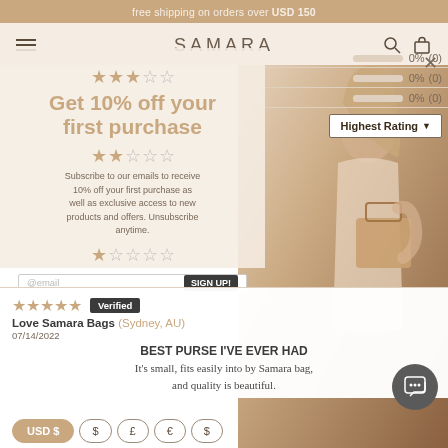free shipping on orders over USD 150
SAMARA
Get 10% off your first purchase
Subscribe to our emails to receive 10% off your first purchase as well as exclusive access to new products and offers. Unsubscribe anytime.
0% (0)
0% (0)
0% (0)
Highest Rating ▼
★★★★★ Verified
Love Samara Bags (Sydney, AU)
07/14/2022
BEST PURSE I'VE EVER HAD
It's small, fits easily into by Samara bag, and quality is beautiful.
USD $   $   £   €   $